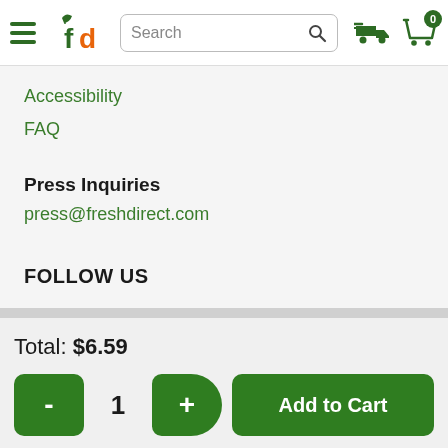FreshDirect header with logo, search bar, delivery and cart icons
Accessibility
FAQ
Press Inquiries
press@freshdirect.com
FOLLOW US
Total: $6.59
- 1 + Add to Cart